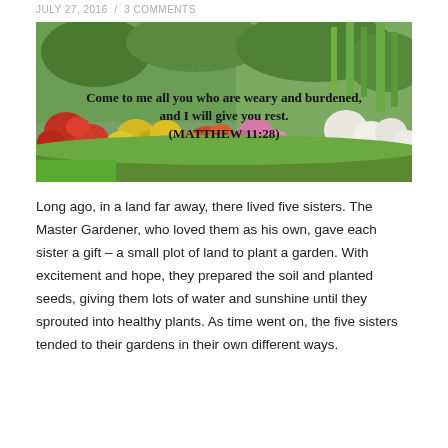JULY 27, 2016  /  3 COMMENTS
[Figure (photo): A lush flower garden with colorful blooms — reds, yellows, whites, pinks, greens — with overlaid text reading: Come to me all you who are weary and burdened, and I will give you rest. (MATTHEW 11:28)]
Long ago, in a land far away, there lived five sisters. The Master Gardener, who loved them as his own, gave each sister a gift – a small plot of land to plant a garden. With excitement and hope, they prepared the soil and planted seeds, giving them lots of water and sunshine until they sprouted into healthy plants. As time went on, the five sisters tended to their gardens in their own different ways.